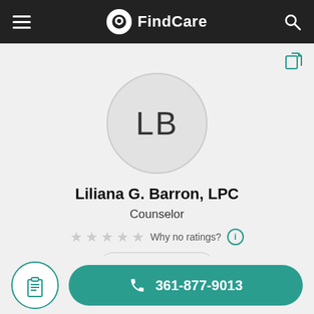FindCare
[Figure (illustration): Avatar circle with initials LB]
Liliana G. Barron, LPC
Counselor
Why no ratings?
Leave a review
361-877-9013